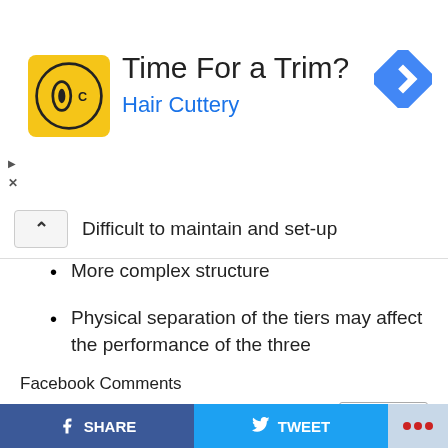[Figure (screenshot): Hair Cuttery advertisement banner with yellow logo, 'Time For a Trim?' text, 'Hair Cuttery' subtitle in blue, and a blue navigation icon on the right.]
Difficult to maintain and set-up
More complex structure
Physical separation of the tiers may affect the performance of the three
Facebook Comments
0 Comments Sort by Newest
Add a comment...
SHARE   TWEET   ...